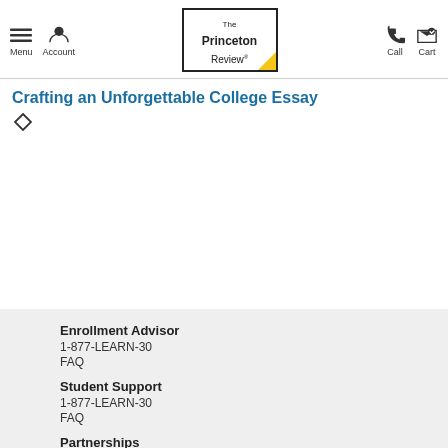Menu | Account | The Princeton Review | Call | Cart
Crafting an Unforgettable College Essay
◇
Enrollment Advisor
1-877-LEARN-30
FAQ
Student Support
1-877-LEARN-30
FAQ
Partnerships
[Figure (infographic): Social media icons: Facebook (blue), Twitter (cyan), Email (gray)]